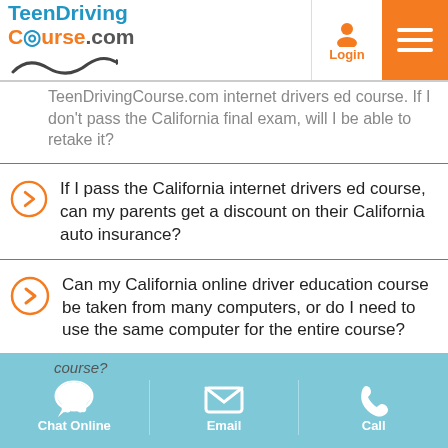TeenDrivingCourse.com | Login | Menu
TeenDrivingCourse.com internet drivers ed course. If I don't pass the California final exam, will I be able to retake it?
If I pass the California internet drivers ed course, can my parents get a discount on their California auto insurance?
Can my California online driver education course be taken from many computers, or do I need to use the same computer for the entire course?
Chat Online | Email | Call
I need to complete the